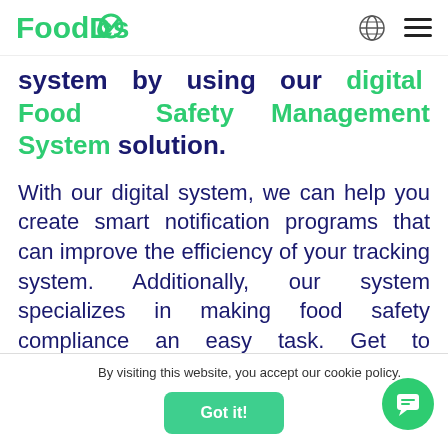[Figure (logo): FoodDocs logo in green text]
system by using our digital Food Safety Management System solution.
With our digital system, we can help you create smart notification programs that can improve the efficiency of your tracking system. Additionally, our system specializes in making food safety compliance an easy task. Get to experience smart notification features that send out push notifications to concerned food handlers. Use this feature to remind food
By visiting this website, you accept our cookie policy.
Got it!